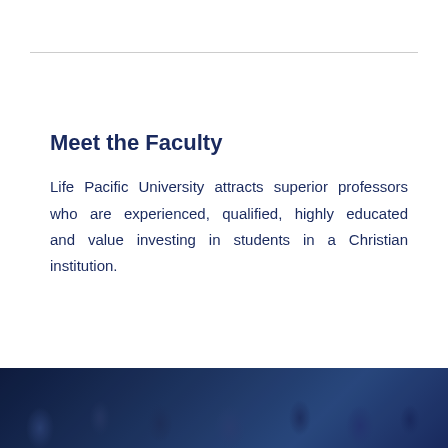Meet the Faculty
Life Pacific University attracts superior professors who are experienced, qualified, highly educated and value investing in students in a Christian institution.
[Figure (photo): Dark blue-tinted photo strip at the bottom of the page showing a crowd of people, likely students and faculty at a university setting.]